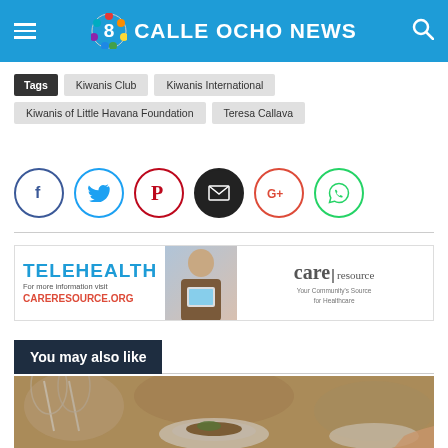CALLE OCHO NEWS
Tags  Kiwanis Club  Kiwanis International  Kiwanis of Little Havana Foundation  Teresa Callava
[Figure (infographic): Social sharing icons row: Facebook, Twitter, Pinterest, Email, Google+, WhatsApp]
[Figure (infographic): TELEHEALTH advertisement banner - For more information visit CARERESOURCE.ORG - Care Resource logo]
You may also like
[Figure (photo): Restaurant dining scene with wine glasses and plates of food]